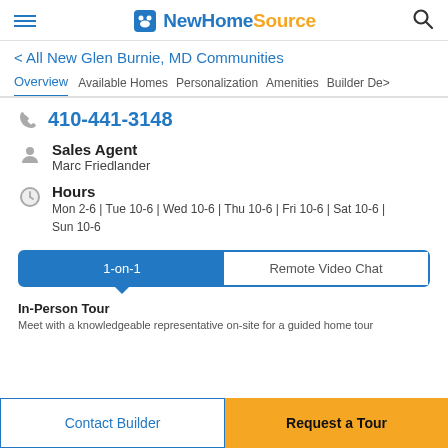NewHomeSource
< All New Glen Burnie, MD Communities
Overview | Available Homes | Personalization | Amenities | Builder De >
410-441-3148
Sales Agent
Marc Friedlander
Hours
Mon 2-6 | Tue 10-6 | Wed 10-6 | Thu 10-6 | Fri 10-6 | Sat 10-6 | Sun 10-6
1-on-1 | Remote Video Chat
In-Person Tour
Meet with a knowledgeable representative on-site for a guided home tour
Contact Builder
Request a Tour